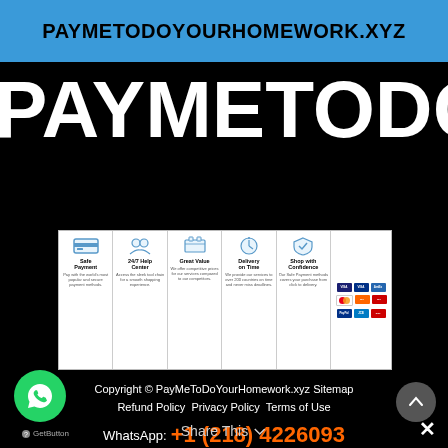PAYMETODOYOURHOMEWORK.XYZ
PAYMETODOYOU
[Figure (infographic): Trust badges row: Safe Payment, 24/7 Help Center, Great Value, Delivery on Time, Shop with Confidence, plus payment method logos (Visa, Mastercard, PayPal, etc.)]
Copyright © PayMeToDoYourHomework.xyz Sitemap Refund Policy Privacy Policy Terms of Use
WhatsApp: +1 (218) 4226093
Share This
GoGetButton